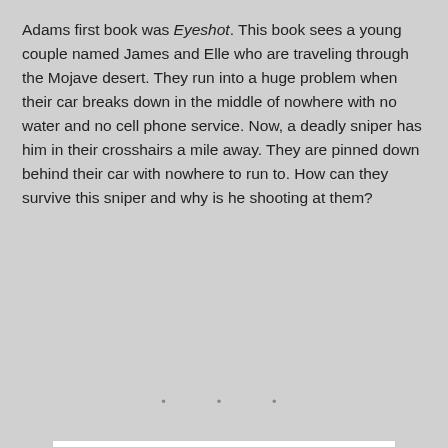Adams first book was Eyeshot. This book sees a young couple named James and Elle who are traveling through the Mojave desert. They run into a huge problem when their car breaks down in the middle of nowhere with no water and no cell phone service. Now, a deadly sniper has him in their crosshairs a mile away. They are pinned down behind their car with nowhere to run to. How can they survive this sniper and why is he shooting at them?
[Figure (other): White rectangular box (likely a CAPTCHA/reCAPTCHA widget area) with three small dots at the bottom center, and a reCAPTCHA overlay in the bottom-right corner showing the reCAPTCHA logo with Privacy and Terms links.]